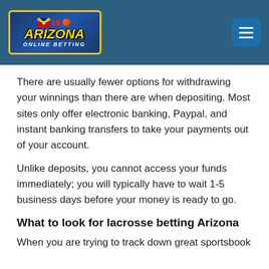Arizona Online Betting — navigation header
There are usually fewer options for withdrawing your winnings than there are when depositing. Most sites only offer electronic banking, Paypal, and instant banking transfers to take your payments out of your account.
Unlike deposits, you cannot access your funds immediately; you will typically have to wait 1-5 business days before your money is ready to go.
What to look for lacrosse betting Arizona
When you are trying to track down great sportsbook options, there are still several things to consider.